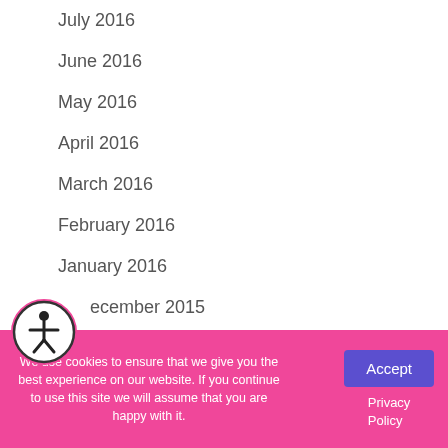July 2016
June 2016
May 2016
April 2016
March 2016
February 2016
January 2016
December 2015
November 2015
October 2015
September 2015
August 2015
[Figure (illustration): Accessibility icon: pink circle with black human figure (universal accessibility symbol)]
We use cookies to ensure that we give you the best experience on our website. If you continue to use this site we will assume that you are happy with it.
Accept
Privacy Policy